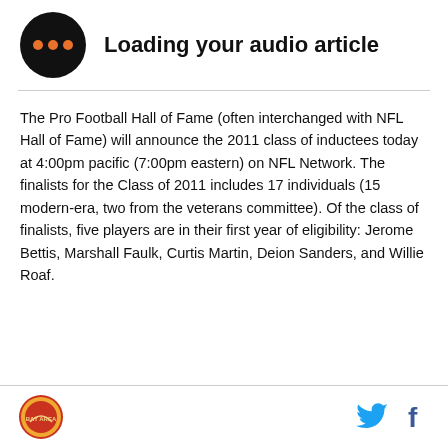[Figure (other): Audio player icon: black circle with three orange dots, alongside 'Loading your audio article' heading]
The Pro Football Hall of Fame (often interchanged with NFL Hall of Fame) will announce the 2011 class of inductees today at 4:00pm pacific (7:00pm eastern) on NFL Network. The finalists for the Class of 2011 includes 17 individuals (15 modern-era, two from the veterans committee). Of the class of finalists, five players are in their first year of eligibility: Jerome Bettis, Marshall Faulk, Curtis Martin, Deion Sanders, and Willie Roaf.
Bay Area logo, Twitter icon, Facebook icon